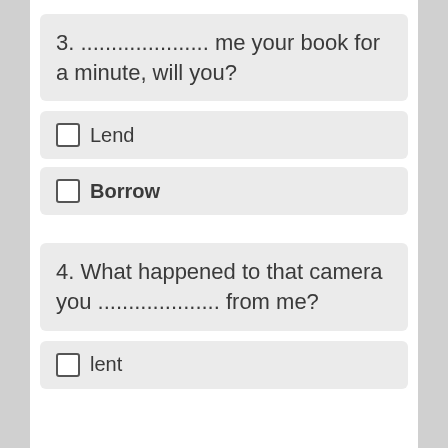3. ..................... me your book for a minute, will you?
Lend
Borrow
4. What happened to that camera you .................... from me?
lent